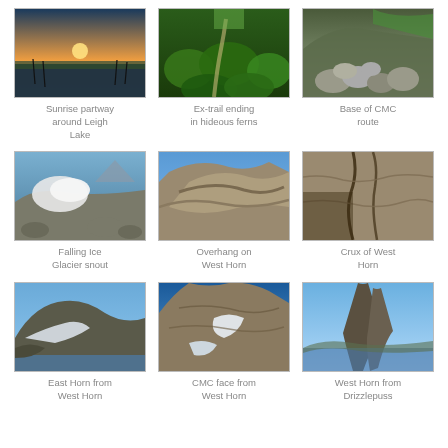[Figure (photo): Sunrise over a lake with reeds silhouetted in the foreground]
Sunrise partway around Leigh Lake
[Figure (photo): Overgrown trail ending in dense green ferns]
Ex-trail ending in hideous ferns
[Figure (photo): Rocky boulders at the base of CMC route with green hillside]
Base of CMC route
[Figure (photo): Falling Ice Glacier snout with snow and rocky terrain]
Falling Ice Glacier snout
[Figure (photo): Overhang rock formation on West Horn against blue sky]
Overhang on West Horn
[Figure (photo): Close-up of the crux rock climbing section of West Horn]
Crux of West Horn
[Figure (photo): East Horn viewed from West Horn with snowfield and lake below]
East Horn from West Horn
[Figure (photo): CMC face of West Horn with snow patches and blue sky]
CMC face from West Horn
[Figure (photo): West Horn spire viewed from Drizzlepuss with lake and sky]
West Horn from Drizzlepuss